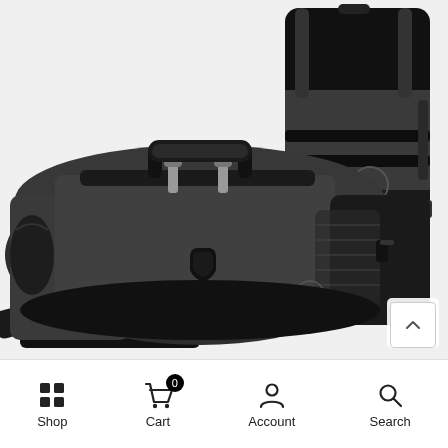[Figure (photo): Product photo showing two views of a dark gray/black duffel bag with brand logo. Main large image shows the duffel bag from the front-side angle with dual top handles, shoulder strap, silver zippers, and brand emblem. Smaller image in top-right shows the bag configured as a backpack with shoulder straps visible from the back.]
Shop   Cart 0   Account   Search